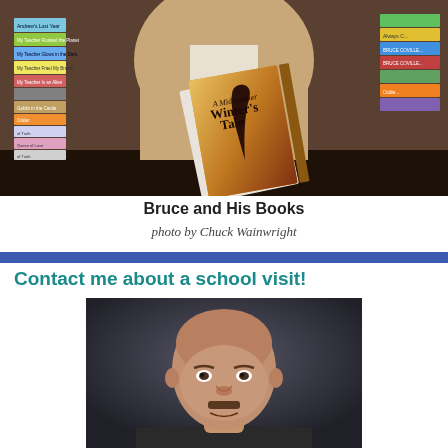[Figure (photo): Bruce Coville surrounded by stacks of his books, with a prominent display of 'A Winter's Tale' in the center. Books are stacked on left and right sides.]
Bruce and His Books
photo by Chuck Wainwright
Contact me about a school visit!
[Figure (photo): Portrait photo of Bruce Coville, a bald man with a mustache, against a dark grey background.]